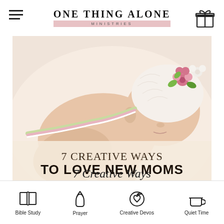ONE THING ALONE MINISTRIES
[Figure (photo): Sleeping newborn baby wearing a white crocheted flower hat with pink and green details, lying on a soft pink surface. Overlaid text reads: '7 CREATIVE WAYS TO LOVE NEW MOMS' with website 'WWW.ONETHINGLALONE.COM']
7 Creative Ways
[Figure (infographic): Bottom navigation bar with four icons and labels: Bible Study (open book icon), Prayer (praying hands icon), Creative Devos (heart with leaf icon), Quiet Time (coffee cup icon)]